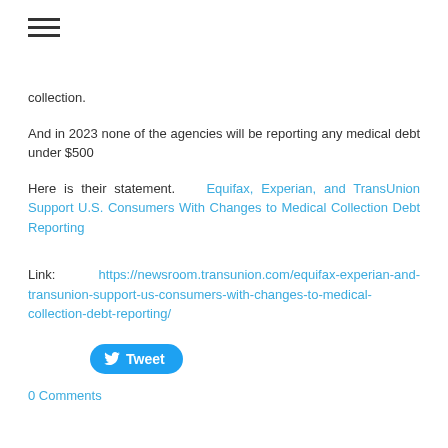collection.
And in 2023 none of the agencies will be reporting any medical debt under $500
Here is their statement.    Equifax, Experian, and TransUnion Support U.S. Consumers With Changes to Medical Collection Debt Reporting
Link:       https://newsroom.transunion.com/equifax-experian-and-transunion-support-us-consumers-with-changes-to-medical-collection-debt-reporting/
Tweet
0 Comments